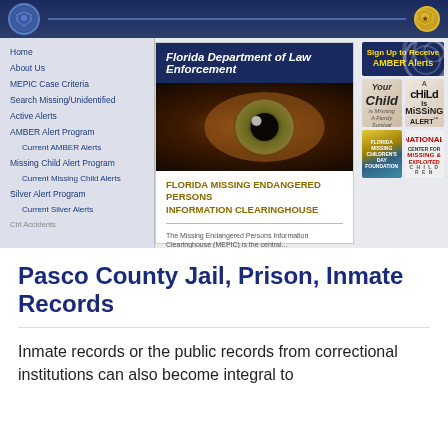[Figure (screenshot): Screenshot of Florida Department of Law Enforcement website showing the FDLE header, navigation menu on the left with links including Home, About Us, MEPIC Case Criteria, Search Missing/Unidentified, Active Alerts, AMBER Alert Program, Current AMBER Alerts, Missing Child Alert Program, Current Missing Child Alerts, Silver Alert Program, Current Silver Alerts. Center panel shows FLORIDA MISSING ENDANGERED PERSONS INFORMATION CLEARINGHOUSE heading and a close-up eye photograph. Right panel shows Sign Up to Receive AMBER Alerts button and child safety organization logos.]
Pasco County Jail, Prison, Inmate Records
Inmate records or the public records from correctional institutions can also become integral to